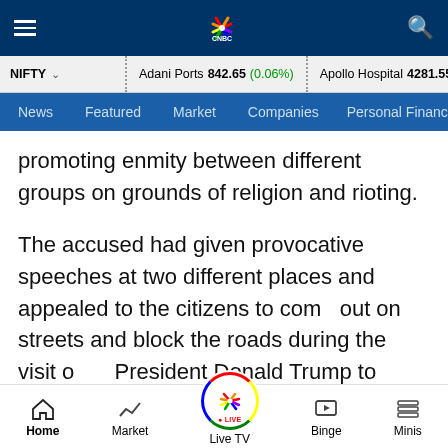CNBC TV18 navigation bar with hamburger menu, logo, and search icon
NIFTY | Adani Ports 842.65 (0.06%) | Apollo Hospital 4281.55 (-0.9...)
News | Featured | Market | Companies | Personal Finance
promoting enmity between different groups on grounds of religion and rioting.
The accused had given provocative speeches at two different places and appealed to the citizens to come out on streets and block the roads during the visit of US President Donald Trump to spread propaganda at
Home | Market | Live TV | Binge | Minis